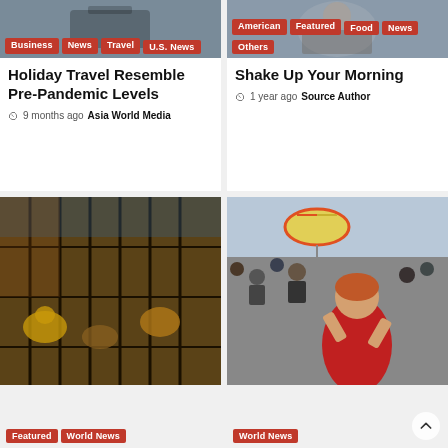[Figure (photo): Top of article card 1 — partial photo with tags: Business, News, Travel, U.S. News]
Holiday Travel Resemble Pre-Pandemic Levels
9 months ago  Asia World Media
[Figure (photo): Top of article card 2 — partial photo with tags: American, Featured, Food, News, Others]
Shake Up Your Morning
1 year ago  Source Author
[Figure (photo): Animals in cages — market scene, tags: Featured, World News]
[Figure (photo): Crowd protest scene with woman shouting, tag: World News]